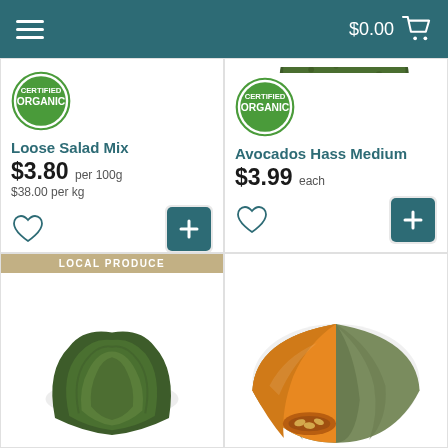$0.00
[Figure (photo): Loose salad mix greens with Certified Organic badge]
Loose Salad Mix
$3.80 per 100g
$38.00 per kg
[Figure (photo): Avocado Hass Medium with Certified Organic badge]
Avocados Hass Medium
$3.99 each
[Figure (photo): Green lettuce head with LOCAL PRODUCE banner]
[Figure (photo): Sliced pumpkin/squash showing orange flesh]